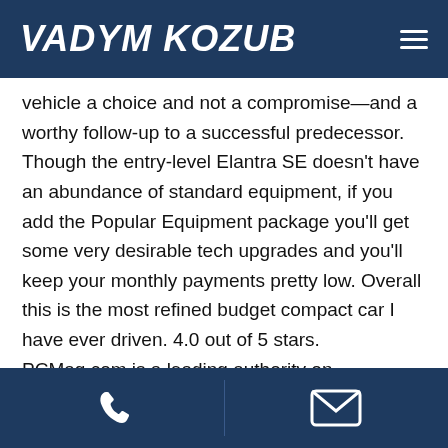VADYM KOZUB
vehicle a choice and not a compromise—and a worthy follow-up to a successful predecessor. Though the entry-level Elantra SE doesn't have an abundance of standard equipment, if you add the Popular Equipment package you'll get some very desirable tech upgrades and you'll keep your monthly payments pretty low. Overall this is the most refined budget compact car I have ever driven. 4.0 out of 5 stars. PCMag.com is a leading authority on technology, delivering Labs-based, independent reviews of the latest products and services. https://www.pcmag.com/reviews/2017-hyundai-
phone | email